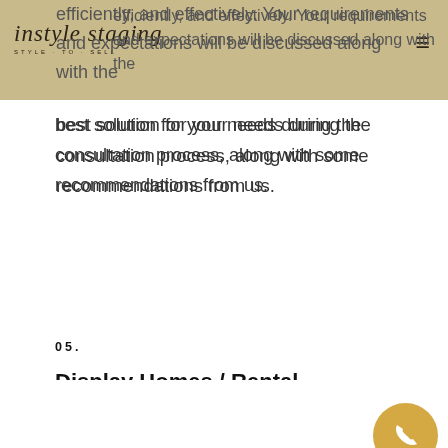instyle staging STYLE·TO·SELL
efficiently, and effectively. Your requirements and expectations will be discussed along with the best solution for your needs during the consultation process, along with some recommendations from us.
05.
Display Homes / Rental Accommodation Armadale
First impressions are important, and you only get the chance to impress your buyer the moment they enter the property once, or view it from a photo online. We will be working with builders & business